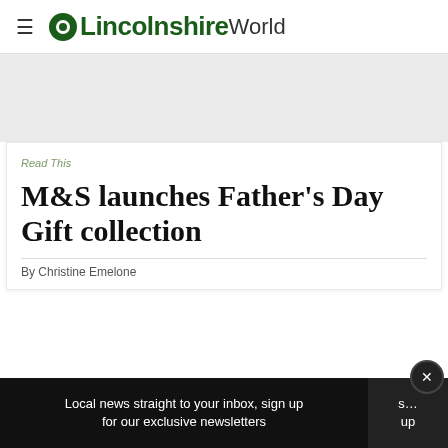Lincolnshire World
[Figure (other): Advertisement banner placeholder area, light grey background]
Read This
M&S launches Father's Day Gift collection
By Christine Emelone
Local news straight to your inbox, sign up for our exclusive newsletters